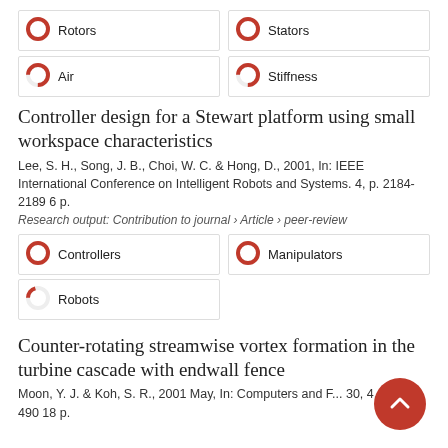[Figure (infographic): Four keyword badges with donut/pie icons indicating coverage: Rotors (100%), Stators (100%), Air (75%), Stiffness (75%)]
Controller design for a Stewart platform using small workspace characteristics
Lee, S. H., Song, J. B., Choi, W. C. & Hong, D., 2001, In: IEEE International Conference on Intelligent Robots and Systems. 4, p. 2184-2189 6 p.
Research output: Contribution to journal › Article › peer-review
[Figure (infographic): Three keyword badges with donut/pie icons: Controllers (100%), Manipulators (100%), Robots (20%)]
Counter-rotating streamwise vortex formation in the turbine cascade with endwall fence
Moon, Y. J. & Koh, S. R., 2001 May, In: Computers and F... 30, 4, p. 473-490 18 p.